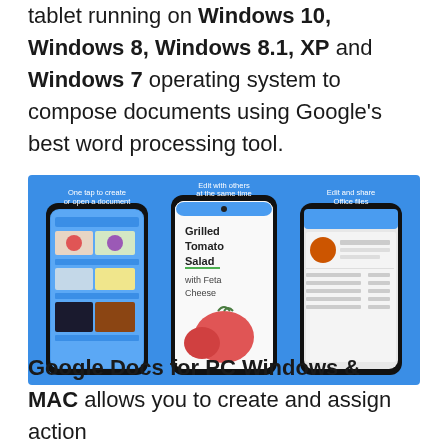tablet running on Windows 10, Windows 8, Windows 8.1, XP and Windows 7 operating system to compose documents using Google's best word processing tool.
[Figure (screenshot): Blue background promotional image showing three smartphone screenshots of Google Docs app. Left phone: 'One tap to create or open a document' showing a grid of documents with vegetable images. Middle phone: 'Edit with others at the same time' showing a recipe document for Grilled Tomato Salad with Feta Cheese with tomato illustration. Right phone: 'Edit and share Office files' showing a document details/properties panel.]
Google Docs for PC Windows & MAC allows you to create and assign action